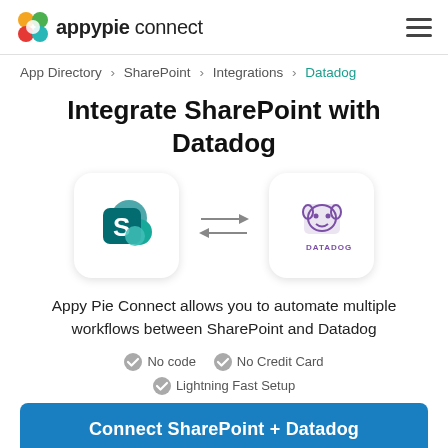appypie connect
App Directory > SharePoint > Integrations > Datadog
Integrate SharePoint with Datadog
[Figure (illustration): SharePoint logo icon in a rounded square box, double-headed arrows in the middle, and Datadog logo icon in a rounded square box]
Appy Pie Connect allows you to automate multiple workflows between SharePoint and Datadog
No code
No Credit Card
Lightning Fast Setup
Connect SharePoint + Datadog